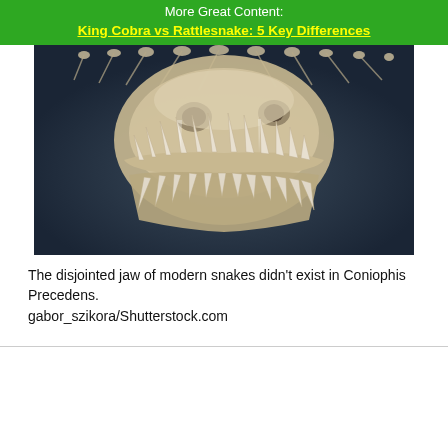More Great Content:
King Cobra vs Rattlesnake: 5 Key Differences
[Figure (photo): Close-up photograph of a snake skull with open jaw showing many sharp teeth, displayed on a dark background. The skull appears to be a fossil or specimen showing the bone structure of a snake's jaw.]
The disjointed jaw of modern snakes didn't exist in Coniophis Precedens.
gabor_szikora/Shutterstock.com